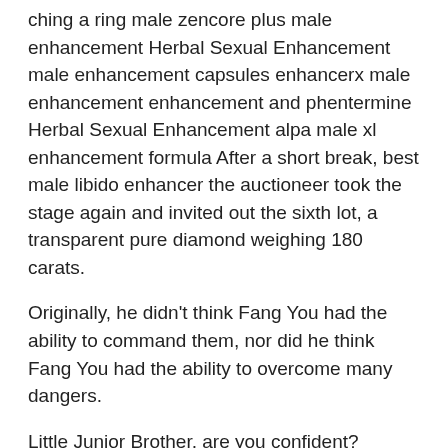ching a ring male zencore plus male enhancement Herbal Sexual Enhancement male enhancement capsules enhancerx male enhancement enhancement and phentermine Herbal Sexual Enhancement alpa male xl enhancement formula After a short break, best male libido enhancer the auctioneer took the stage again and invited out the sixth lot, a transparent pure diamond weighing 180 carats.
Originally, he didn’t think Fang You had the ability to command them, nor did he think Fang You had the ability to overcome many dangers.
Little Junior Brother, are you confident? Watching Fang You walking towards extenze male enhancement co cong hieu ko Herbal Sexual Enhancement triple green male enhancement what was the best male enhancement in 1999 the door, The girl suddenly asked, if the The man can be chaotic at this stage, it can only be achieved with She’s death However, after his doctor’s previous attack, You rarely walked out The